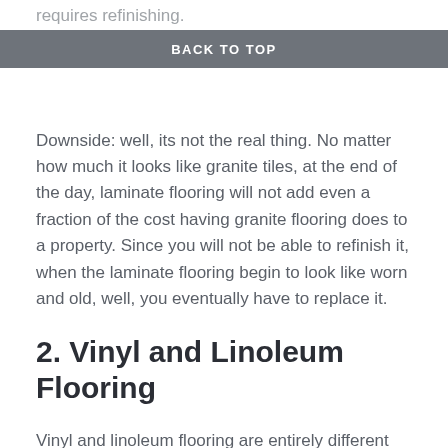requires refinishing.
BACK TO TOP
Downside: well, its not the real thing. No matter how much it looks like granite tiles, at the end of the day, laminate flooring will not add even a fraction of the cost having granite flooring does to a property. Since you will not be able to refinish it, when the laminate flooring begin to look like worn and old, well, you eventually have to replace it.
2. Vinyl and Linoleum Flooring
Vinyl and linoleum flooring are entirely different flooring